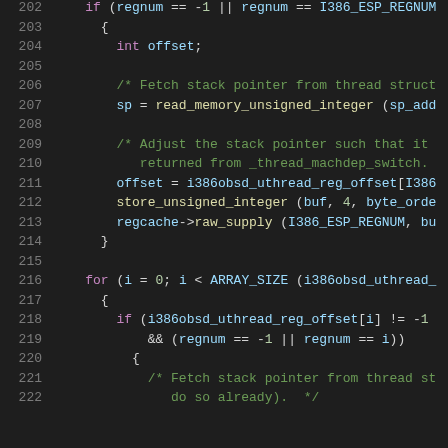[Figure (screenshot): Source code snippet in a dark-themed code editor showing C code lines 202-222, with syntax highlighting. Keywords in purple, identifiers in light blue, comments in green, and plain code in white/light gray on a dark background.]